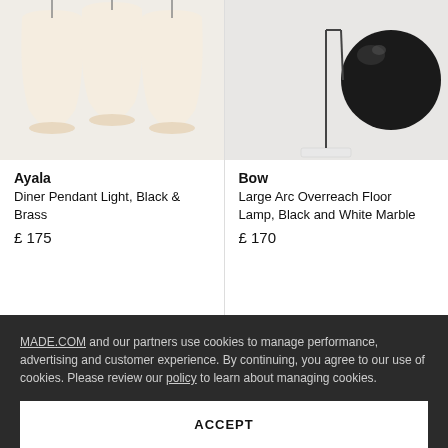[Figure (photo): Ayala Diner Pendant Light with warm white lampshades on dark background]
Ayala
Diner Pendant Light, Black & Brass
£ 175
[Figure (photo): Bow Large Arc Overreach Floor Lamp with black dome shade and white marble base]
Bow
Large Arc Overreach Floor Lamp, Black and White Marble
£ 170
MADE.COM and our partners use cookies to manage performance, advertising and customer experience. By continuing, you agree to our use of cookies. Please review our policy to learn about managing cookies.
ACCEPT